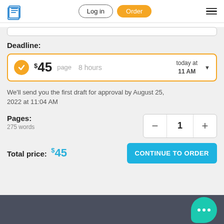Log in | Order
Deadline:
$45 page  8 hours  today at 11 AM
We'll send you the first draft for approval by August 25, 2022 at 11:04 AM
Pages:
275 words
Total price: $45
CONTINUE TO ORDER